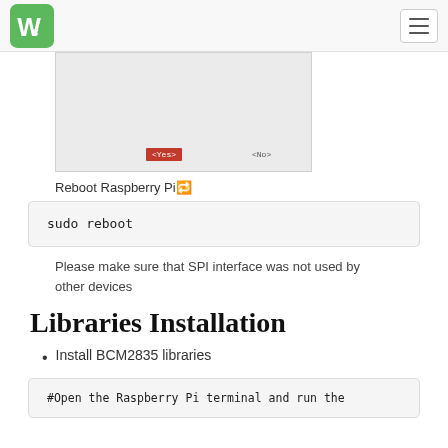Waveshare logo and navigation
[Figure (screenshot): Raspberry Pi configuration dialog screenshot showing <Yes> and <No> buttons at the bottom]
Reboot Raspberry Pi🔄
sudo reboot
Please make sure that SPI interface was not used by other devices
Libraries Installation
Install BCM2835 libraries
#Open the Raspberry Pi terminal and run the